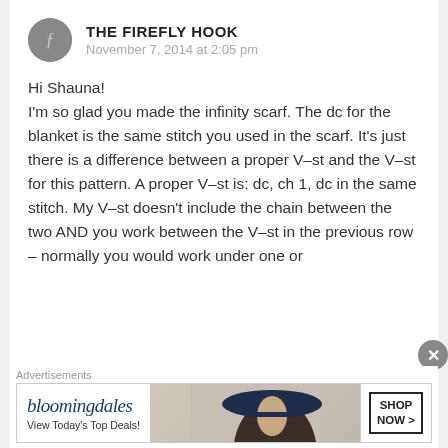THE FIREFLY HOOK
November 7, 2014 at 2:05 pm
Hi Shauna!
I'm so glad you made the infinity scarf. The dc for the blanket is the same stitch you used in the scarf. It's just there is a difference between a proper V-st and the V-st for this pattern. A proper V-st is: dc, ch 1, dc in the same stitch. My V-st doesn't include the chain between the two AND you work between the V-st in the previous row – normally you would work under one or
Advertisements
[Figure (other): Bloomingdales advertisement banner with logo, 'View Today's Top Deals!' text, woman in hat, and 'SHOP NOW >' button]